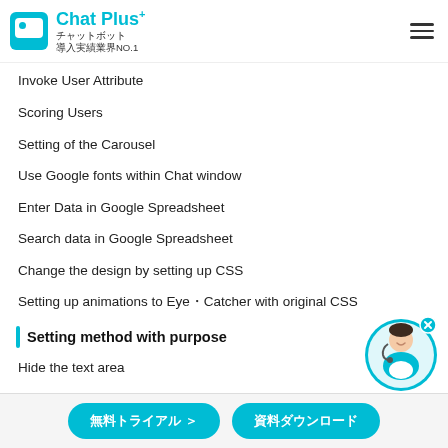Chat Plus+ チャットボット 導入実績業界NO.1
Invoke User Attribute
Scoring Users
Setting of the Carousel
Use Google fonts within Chat window
Enter Data in Google Spreadsheet
Search data in Google Spreadsheet
Change the design by setting up CSS
Setting up animations to Eye・Catcher with original CSS
Setting method with purpose
Hide the text area
[Figure (photo): Chat support agent avatar - woman with headset in circular frame]
無料トライアル ＞　　資料ダウンロード